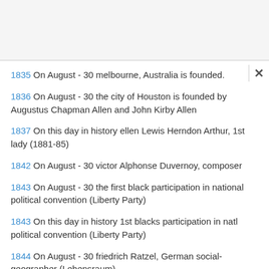1835  On August - 30 melbourne, Australia is founded.
1836  On August - 30 the city of Houston is founded by Augustus Chapman Allen and John Kirby Allen
1837  On this day in history ellen Lewis Herndon Arthur, 1st lady (1881-85)
1842  On August - 30 victor Alphonse Duvernoy, composer
1843  On August - 30 the first black participation in national political convention (Liberty Party)
1843  On this day in history 1st blacks participation in natl political convention (Liberty Party)
1844  On August - 30 friedrich Ratzel, German social-geographer (Lebensraum)